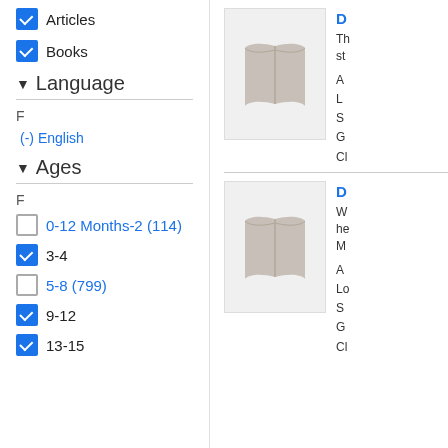Articles (checked)
Books (checked)
Language
F
(-) English
Ages
F
0-12 Months-2 (114) - unchecked
3-4 - checked
5-8 (799) - unchecked
9-12 - checked
13-15 - checked
[Figure (illustration): Open book placeholder cover image (gray book icon on light background)]
D
Th st

A
L
S
G

Cl
[Figure (illustration): Open book placeholder cover image (gray book icon on light background)]
D
W he M

A
Lo
S
G

Cl